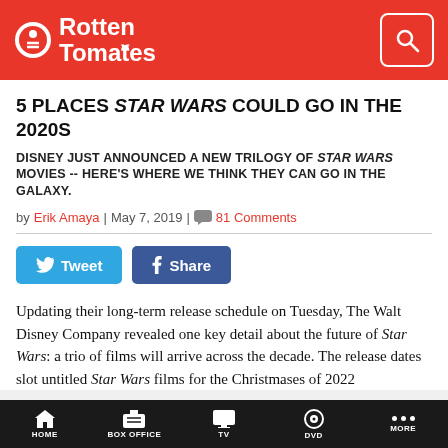Rotten Tomatoes
5 PLACES STAR WARS COULD GO IN THE 2020S
DISNEY JUST ANNOUNCED A NEW TRILOGY OF STAR WARS MOVIES -- HERE'S WHERE WE THINK THEY CAN GO IN THE GALAXY.
by Erik Amaya | May 7, 2019 | 81 Comments
[Figure (other): Tweet and Share social media buttons]
Updating their long-term release schedule on Tuesday, The Walt Disney Company revealed one key detail about the future of Star Wars: a trio of films will arrive across the decade. The release dates slot untitled Star Wars films for the Christmases of 2022
HOME | BOX OFFICE | TV | DVD | MORE